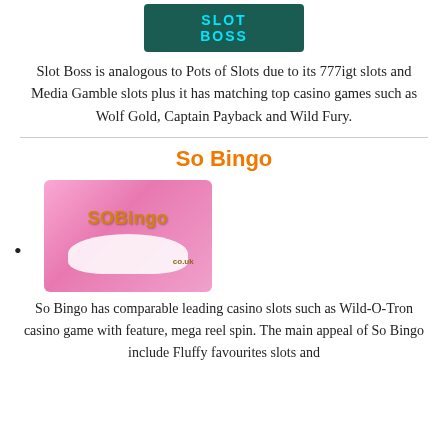[Figure (logo): Slot Boss logo on dark teal background]
Slot Boss is analogous to Pots of Slots due to its 777igt slots and Media Gamble slots plus it has matching top casino games such as Wolf Gold, Captain Payback and Wild Fury.
So Bingo
[Figure (logo): SoBingo.co.uk logo on pink/magenta background with cloud graphic]
So Bingo has comparable leading casino slots such as Wild-O-Tron casino game with feature, mega reel spin. The main appeal of So Bingo include Fluffy favourites slots and